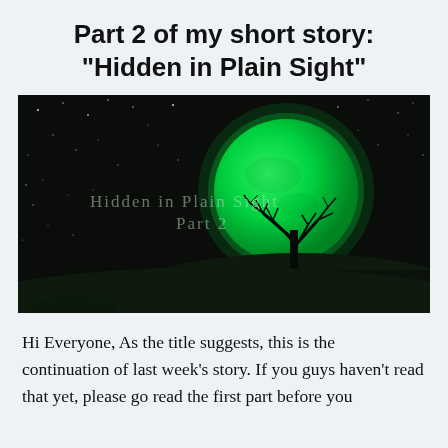Part 2 of my short story: “Hidden in Plain Sight”
[Figure (illustration): Night scene illustration showing a large glowing green moon against a dark starry sky, with a bare tree silhouette on a hill in the foreground. Watermark text reads 'Hidden in Plain Sight Part 2'.]
Hi Everyone, As the title suggests, this is the continuation of last week’s story. If you guys haven’t read that yet, please go read the first part before you